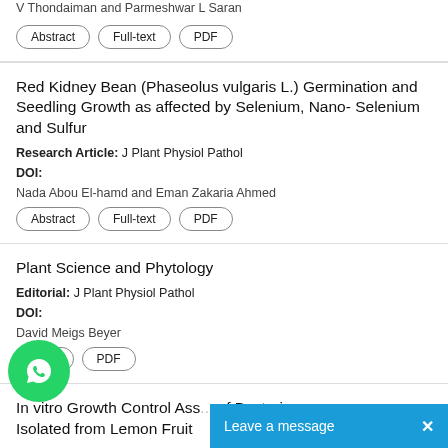Narendra A Gajbhiye, Kuldeepsingh A Kulanya, Ram P Meena, V Thondaiman and Parmeshwar L Saran
Abstract | Full-text | PDF
Red Kidney Bean (Phaseolus vulgaris L.) Germination and Seedling Growth as affected by Selenium, Nano- Selenium and Sulfur
Research Article: J Plant Physiol Pathol
DOI:
Nada Abou El-hamd and Eman Zakaria Ahmed
Abstract | Full-text | PDF
Plant Science and Phytology
Editorial: J Plant Physiol Pathol
DOI:
David Meigs Beyer
Full-text | PDF
In vitro Growth Control Ass... of Bacteria Isolated from Lemon Fruit
[Figure (screenshot): WhatsApp chat icon (green circle with phone handset)]
[Figure (screenshot): Leave a message chat bar (blue background with close X button)]